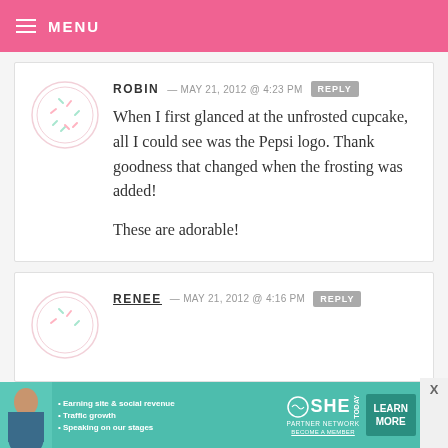MENU
ROBIN — MAY 21, 2012 @ 4:23 PM  REPLY
When I first glanced at the unfrosted cupcake, all I could see was the Pepsi logo. Thank goodness that changed when the frosting was added!

These are adorable!
RENEE — MAY 21, 2012 @ 4:16 PM  REPLY
[Figure (infographic): SHE Partner Network advertisement banner with woman photo, bullet points about Earning site & social revenue, Traffic growth, Speaking on our stages, SHE logo, LEARN MORE button, X close button]